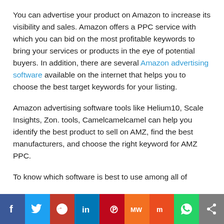You can advertise your product on Amazon to increase its visibility and sales. Amazon offers a PPC service with which you can bid on the most profitable keywords to bring your services or products in the eye of potential buyers. In addition, there are several Amazon advertising software available on the internet that helps you to choose the best target keywords for your listing.
Amazon advertising software tools like Helium10, Scale Insights, Zon. tools, Camelcamelcamel can help you identify the best product to sell on AMZ, find the best manufacturers, and choose the right keyword for AMZ PPC.
To know which software is best to use among all of
[Figure (infographic): Social media sharing bar with icons: Facebook (blue), Twitter (light blue), Reddit (red), LinkedIn (dark blue), Pinterest (dark red), MeWe (orange), Mix (orange-red), WhatsApp (green), Share (grey)]